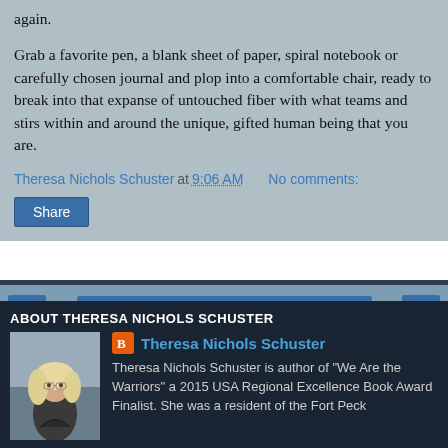again.
Grab a favorite pen, a blank sheet of paper, spiral notebook or carefully chosen journal and plop into a comfortable chair, ready to break into that expanse of untouched fiber with what teams and stirs within and around the unique, gifted human being that you are.
Theresa Nichols Schuster at 9:06 AM    No comments:
Share
Home
View web version
ABOUT THERESA NICHOLS SCHUSTER
Theresa Nichols Schuster
Theresa Nichols Schuster is author of "We Are the Warriors" a 2015 USA Regional Excellence Book Award Finalist. She was a resident of the Fort Peck